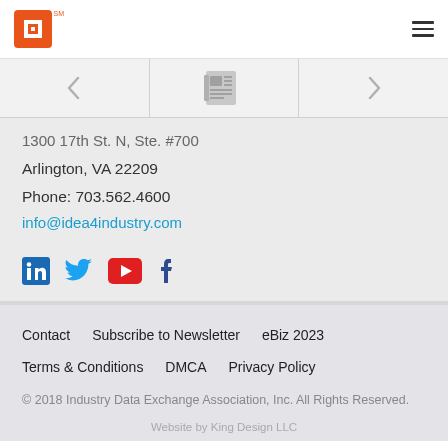IDEA4INDUSTRY logo and navigation menu header
[Figure (screenshot): Navigation strip with left arrow, newspaper icon center, right arrow]
1300 17th St. N, Ste. #700
Arlington, VA 22209
Phone: 703.562.4600
info@idea4industry.com
[Figure (infographic): Social media icons: LinkedIn (blue), Twitter (blue), YouTube (red), Facebook (dark blue)]
Contact   Subscribe to Newsletter   eBiz 2023
Terms & Conditions   DMCA   Privacy Policy
© 2018 Industry Data Exchange Association, Inc. All Rights Reserved.
Website by King Design LLC